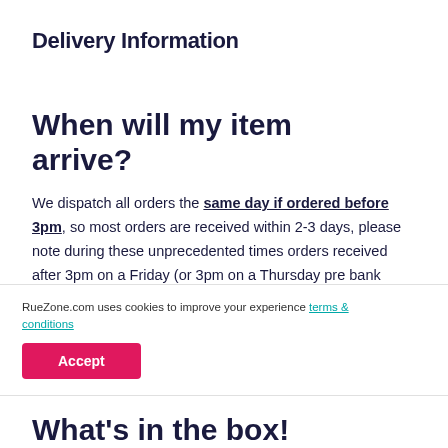Delivery Information
When will my item arrive?
We dispatch all orders the same day if ordered before 3pm, so most orders are received within 2-3 days, please note during these unprecedented times orders received after 3pm on a Friday (or 3pm on a Thursday pre bank holiday) will be dispatched on the following Monday (excluding bank holidays, these orders will be dispatched on the Tuesday).
RueZone.com uses cookies to improve your experience terms & conditions
Accept
What's in the box!